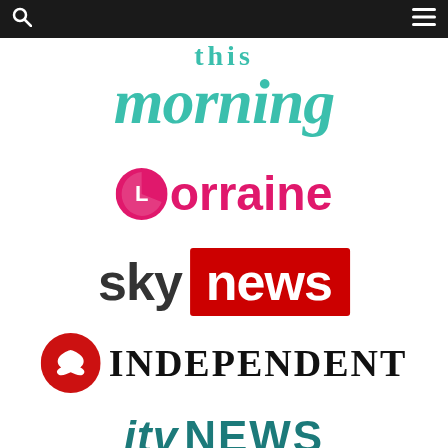Navigation bar with search and menu icons
[Figure (logo): This Morning TV show logo in teal/turquoise serif italic font]
[Figure (logo): Lorraine TV show logo with pink circle and pink bold text]
[Figure (logo): Sky News logo with dark 'sky' text and red rectangle containing white 'news' text]
[Figure (logo): The Independent newspaper logo with red circle eagle icon and black serif INDEPENDENT text]
[Figure (logo): ITV News logo in teal color with italic itv and bold NEWS]